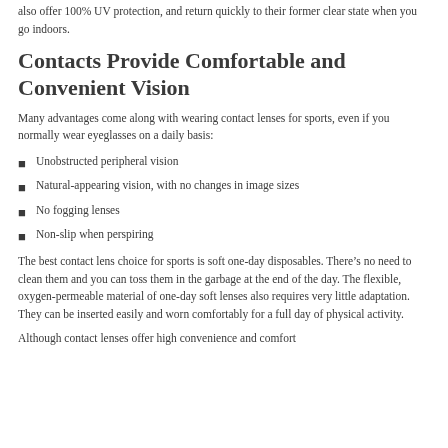also offer 100% UV protection, and return quickly to their former clear state when you go indoors.
Contacts Provide Comfortable and Convenient Vision
Many advantages come along with wearing contact lenses for sports, even if you normally wear eyeglasses on a daily basis:
Unobstructed peripheral vision
Natural-appearing vision, with no changes in image sizes
No fogging lenses
Non-slip when perspiring
The best contact lens choice for sports is soft one-day disposables. There’s no need to clean them and you can toss them in the garbage at the end of the day. The flexible, oxygen-permeable material of one-day soft lenses also requires very little adaptation. They can be inserted easily and worn comfortably for a full day of physical activity.
Although contact lenses offer high convenience and comfort